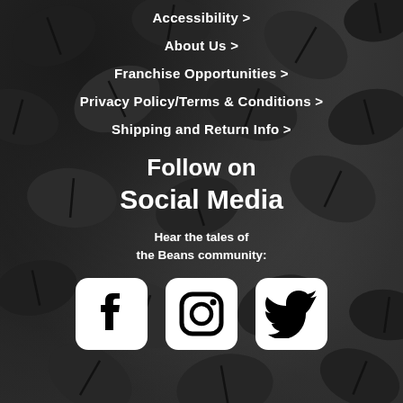[Figure (photo): Dark roasted coffee beans filling the background]
Accessibility >
About Us >
Franchise Opportunities >
Privacy Policy/Terms & Conditions >
Shipping and Return Info >
Follow on Social Media
Hear the tales of the Beans community:
[Figure (illustration): Three social media icons: Facebook, Instagram, Twitter]